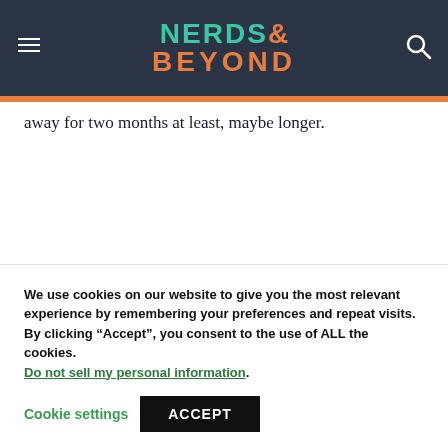[Figure (logo): Nerds & Beyond logo with teal NERDS and orange & BEYOND text on dark navy background, with hamburger menu icon on left and search icon on right]
away for two months at least, maybe longer.
We use cookies on our website to give you the most relevant experience by remembering your preferences and repeat visits. By clicking “Accept”, you consent to the use of ALL the cookies. Do not sell my personal information.
Cookie settings
ACCEPT